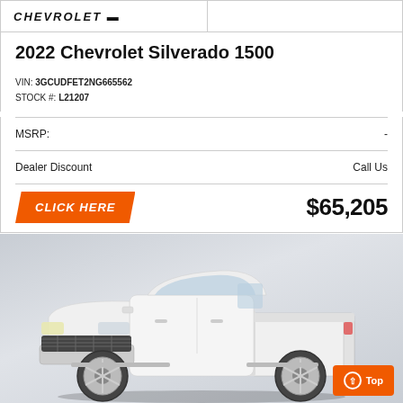CHEVROLET
2022 Chevrolet Silverado 1500
VIN: 3GCUDFET2NG665562
STOCK #: L21207
|  |  |
| --- | --- |
| MSRP: | - |
| Dealer Discount | Call Us |
|  | $65,205 |
[Figure (photo): White 2022 Chevrolet Silverado 1500 pickup truck on a gray gradient background, three-quarter front view]